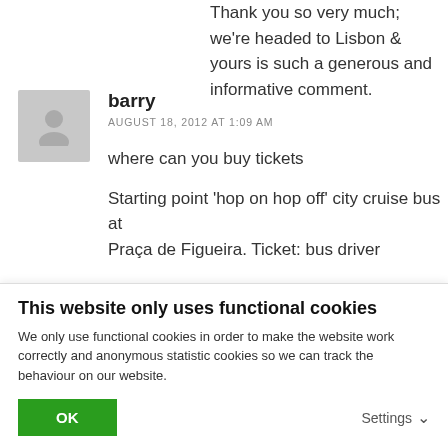Thank you so very much; we're headed to Lisbon & yours is such a generous and informative comment.
barry
AUGUST 18, 2012 AT 1:09 AM
where can you buy tickets
Starting point 'hop on hop off' city cruise bus at Praça de Figueira. Ticket: bus driver
This website only uses functional cookies
We only use functional cookies in order to make the website work correctly and anonymous statistic cookies so we can track the behaviour on our website.
OK
Settings